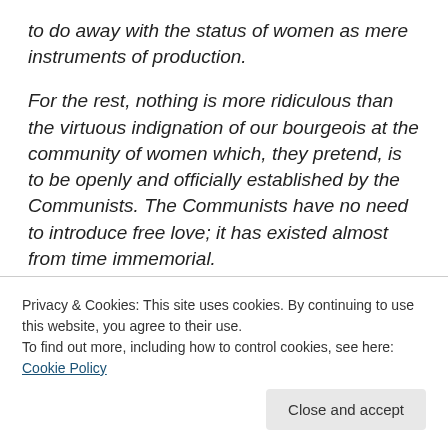to do away with the status of women as mere instruments of production.
For the rest, nothing is more ridiculous than the virtuous indignation of our bourgeois at the community of women which, they pretend, is to be openly and officially established by the Communists. The Communists have no need to introduce free love; it has existed almost from time immemorial.
Our bourgeois, not content with having wives and daughters of their proletarians at their disposal, not to ... common and, in fact, all the more, with the Communists
Privacy & Cookies: This site uses cookies. By continuing to use this website, you agree to their use.
To find out more, including how to control cookies, see here: Cookie Policy